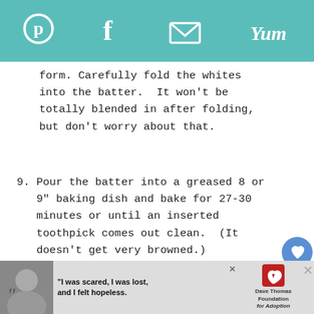Pinterest | Facebook | Email | Yum
form. Carefully fold the whites into the batter.  It won't be totally blended in after folding, but don't worry about that.
9. Pour the batter into a greased 8 or 9" baking dish and bake for 27-30 minutes or until an inserted toothpick comes out clean.  (It doesn't get very browned.)
Notes
Tips and Stuff:
For more of a medium stead, after the initial 4
[Figure (screenshot): Advertisement banner at bottom with black-and-white photo of a woman, quote text 'I was scared, I was lost, and I felt hopeless.' and Dave Thomas Foundation for Adoption logo with close buttons]